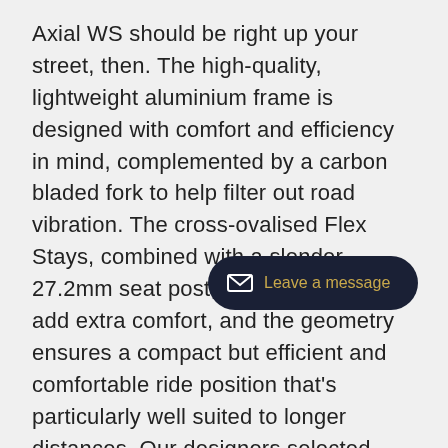Axial WS should be right up your street, then. The high-quality, lightweight aluminium frame is designed with comfort and efficiency in mind, complemented by a carbon bladed fork to help filter out road vibration. The cross-ovalised Flex Stays, combined with a slender 27.2mm seat post, are designed to add extra comfort, and the geometry ensures a compact but efficient and comfortable ride position that's particularly well suited to longer distances. Our designers selected Shimano's Claris groupset for its wide gear range and easy shifting, while the PressFit bottom bracket and Hollowtech 2 cranks help reduce weight. With Continental Ultra Sport 2 tyres on a CUBE wheelset with DT Swiss spokes and handlebar specially selected for women riders, you'll be fully equipped for any ride, wherever it takes you. A wide range of sizes means every woman can find exactly the
[Figure (other): A dark navy rounded pill-shaped chat button with an envelope icon and the text 'Leave a message' in gold/amber color.]